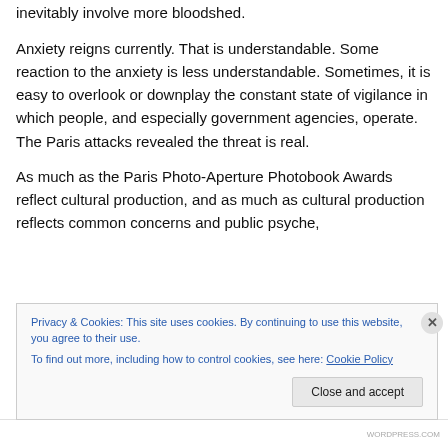inevitably involve more bloodshed.
Anxiety reigns currently. That is understandable. Some reaction to the anxiety is less understandable. Sometimes, it is easy to overlook or downplay the constant state of vigilance in which people, and especially government agencies, operate. The Paris attacks revealed the threat is real.
As much as the Paris Photo-Aperture Photobook Awards reflect cultural production, and as much as cultural production reflects common concerns and public psyche,
Privacy & Cookies: This site uses cookies. By continuing to use this website, you agree to their use.
To find out more, including how to control cookies, see here: Cookie Policy
Close and accept